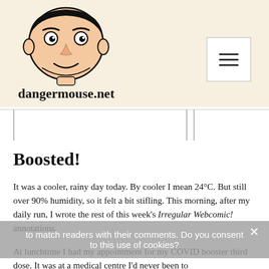[Figure (illustration): Cartoon face illustration of a man with dark hair and simple features, serving as the site logo for dangermouse.net]
dangermouse.net
Boosted!
It was a cooler, rainy day today. By cooler I mean 24°C. But still over 90% humidity, so it felt a bit stifling. This morning, after my daily run, I wrote the rest of this week's Irregular Webcomic! annotations.
At lunchtime I had my appointment for my COVID booster third dose. It was at a medical centre I'd never been to
to match readers with their comments. Do you consent to this use of cookies?